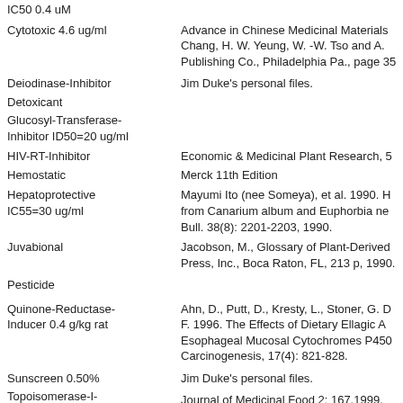IC50 0.4 uM
Cytotoxic 4.6 ug/ml
Advance in Chinese Medicinal Materials Chang, H. W. Yeung, W. -W. Tso and A. Publishing Co., Philadelphia Pa., page 35
Deiodinase-Inhibitor
Jim Duke's personal files.
Detoxicant
Glucosyl-Transferase-Inhibitor ID50=20 ug/ml
HIV-RT-Inhibitor
Economic & Medicinal Plant Research, 5
Hemostatic
Merck 11th Edition
Hepatoprotective IC55=30 ug/ml
Mayumi Ito (nee Someya), et al. 1990. H... from Canarium album and Euphorbia ne... Bull. 38(8): 2201-2203, 1990.
Juvabional
Jacobson, M., Glossary of Plant-Derived... Press, Inc., Boca Raton, FL, 213 p, 1990...
Pesticide
Quinone-Reductase-Inducer 0.4 g/kg rat
Ahn, D., Putt, D., Kresty, L., Stoner, G. ... F. 1996. The Effects of Dietary Ellagic A... Esophageal Mucosal Cytochromes P450... Carcinogenesis, 17(4): 821-828.
Sunscreen 0.50%
Jim Duke's personal files.
Topoisomerase-I-Antagonist
Journal of Medicinal Food 2: 167.1999.